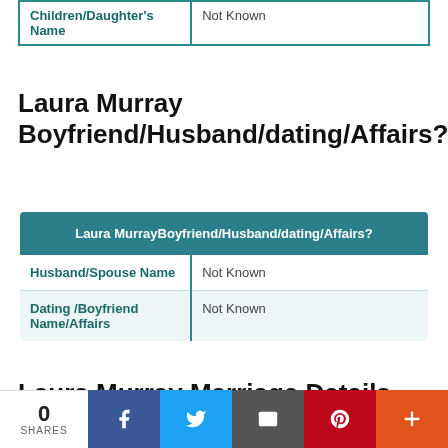| Children/Daughter's Name | Not Known |
| --- | --- |
Laura Murray Boyfriend/Husband/dating/Affairs?
| Laura MurrayBoyfriend/Husband/dating/Affairs? |
| --- |
| Husband/Spouse Name | Not Known |
| Dating /Boyfriend Name/Affairs | Not Known |
Laura Murray Marriage Details